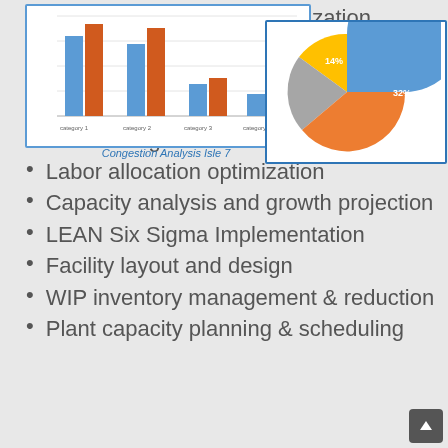scheduling, tracking) optimization
Identify & reduce bottlenecks and constraints
Equipment feasibility and automation
Forecasting and schedule optimization
Labor allocation optimization
Capacity analysis and growth projection
LEAN Six Sigma Implementation
Facility layout and design
WIP inventory management & reduction
Plant capacity planning & scheduling
[Figure (grouped-bar-chart): Congestion Analysis Isle 7 - grouped bar chart with blue and orange bars showing multiple categories]
Congestion Analysis Isle 7
[Figure (pie-chart): Pie chart with blue, orange, yellow, and gray slices, one slice labeled 14%, another 32%]